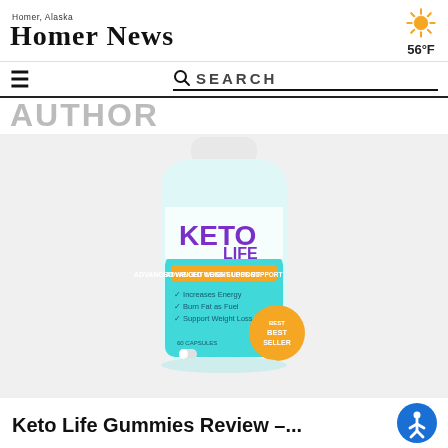Homer News — Homer, Alaska — 56°F
Keto Life Gummies Review –...
[Figure (photo): Bottle of Keto Life Advanced Weight Loss Support supplement — labeled with 'KETO LIFE', 'ADVANCED WEIGHT LOSS SUPPORT', bullet points: Increases Energy, Burn Fat as Fuel, Support Weight Loss, 60 Capsules, and a Best Seller badge.]
Keto Life Gummies Review –...